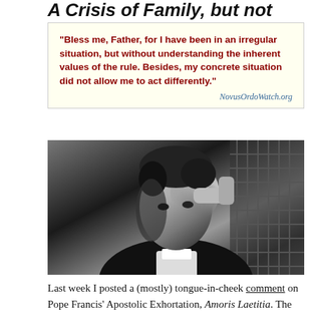A Crisis of Family, but not
"Bless me, Father, for I have been in an irregular situation, but without understanding the inherent values of the rule. Besides, my concrete situation did not allow me to act differently."
NovusOrdoWatch.org
[Figure (photo): Black and white photograph of a man in clerical collar in a confessional, hand raised to his forehead, looking contemplatively to the side.]
Last week I posted a (mostly) tongue-in-cheek comment on Pope Francis' Apostolic Exhortation, Amoris Laetitia. The document represented the